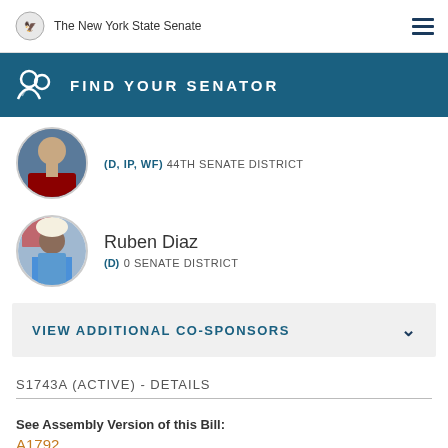The New York State Senate
FIND YOUR SENATOR
(D, IP, WF) 44TH SENATE DISTRICT
Ruben Diaz (D) 0 SENATE DISTRICT
VIEW ADDITIONAL CO-SPONSORS
S1743A (ACTIVE) - DETAILS
See Assembly Version of this Bill:
A1792